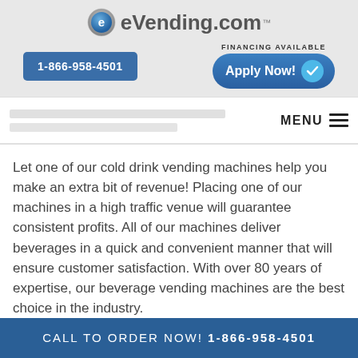eVending.com
[Figure (logo): eVending.com logo with stylized blue 'e' icon and phone button 1-866-958-4501, plus FINANCING AVAILABLE Apply Now! button]
MENU
Let one of our cold drink vending machines help you make an extra bit of revenue! Placing one of our machines in a high traffic venue will guarantee consistent profits. All of our machines deliver beverages in a quick and convenient manner that will ensure customer satisfaction. With over 80 years of expertise, our beverage vending machines are the best choice in the industry.
CALL TO ORDER NOW! 1-866-958-4501